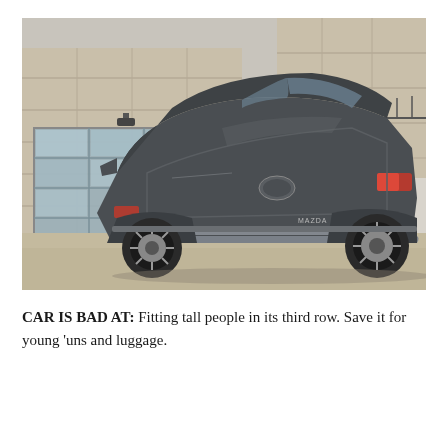[Figure (photo): A dark gray Mazda CX-9 SUV photographed from the rear three-quarter angle, parked in front of a modern tan/beige stone-block building with a large glass-panel garage door. Trees visible in the background.]
CAR IS BAD AT: Fitting tall people in its third row. Save it for young 'uns and luggage.